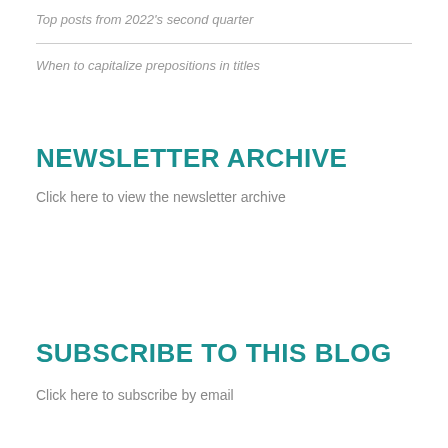Top posts from 2022's second quarter
When to capitalize prepositions in titles
NEWSLETTER ARCHIVE
Click here to view the newsletter archive
SUBSCRIBE TO THIS BLOG
Click here to subscribe by email